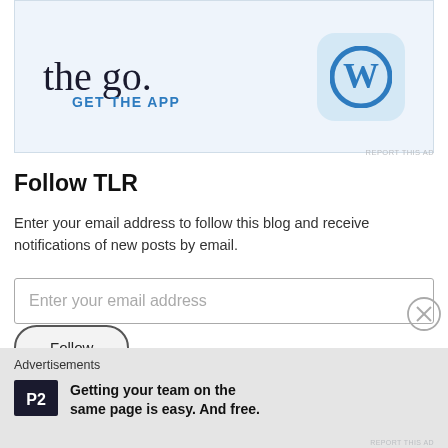[Figure (screenshot): WordPress app advertisement banner with text 'the go.' and 'GET THE APP' link and WordPress logo icon on light blue background]
REPORT THIS AD
Follow TLR
Enter your email address to follow this blog and receive notifications of new posts by email.
Enter your email address
Follow
Advertisements
[Figure (logo): P2 logo — black square with P2 text]
Getting your team on the same page is easy. And free.
REPORT THIS AD